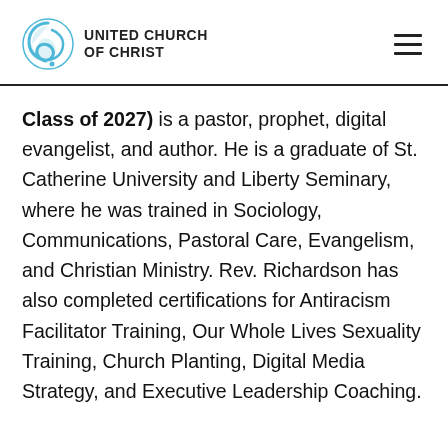UNITED CHURCH OF CHRIST
Class of 2027) is a pastor, prophet, digital evangelist, and author. He is a graduate of St. Catherine University and Liberty Seminary, where he was trained in Sociology, Communications, Pastoral Care, Evangelism, and Christian Ministry. Rev. Richardson has also completed certifications for Antiracism Facilitator Training, Our Whole Lives Sexuality Training, Church Planting, Digital Media Strategy, and Executive Leadership Coaching.